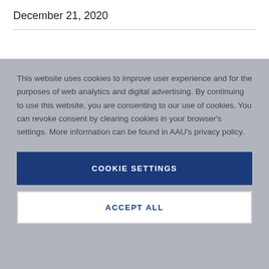December 21, 2020
This website uses cookies to improve user experience and for the purposes of web analytics and digital advertising. By continuing to use this website, you are consenting to our use of cookies. You can revoke consent by clearing cookies in your browser's settings. More information can be found in AAU's privacy policy.
COOKIE SETTINGS
ACCEPT ALL